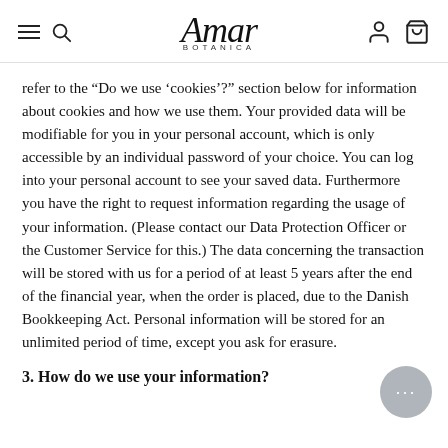Amar Botanica
refer to the “Do we use ‘cookies’?” section below for information about cookies and how we use them. Your provided data will be modifiable for you in your personal account, which is only accessible by an individual password of your choice. You can log into your personal account to see your saved data. Furthermore you have the right to request information regarding the usage of your information. (Please contact our Data Protection Officer or the Customer Service for this.) The data concerning the transaction will be stored with us for a period of at least 5 years after the end of the financial year, when the order is placed, due to the Danish Bookkeeping Act. Personal information will be stored for an unlimited period of time, except you ask for erasure.
3. How do we use your information?